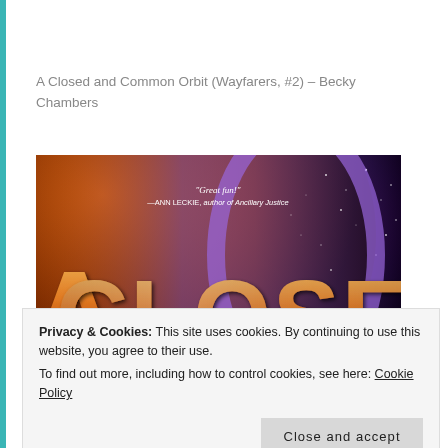A Closed and Common Orbit (Wayfarers, #2) – Becky Chambers
[Figure (photo): Book cover of 'A Closed and Common Orbit' (Wayfarers #2) by Becky Chambers. Shows the title text 'A CLOSED' in large metallic/gradient letters against a dramatic space background with a planet or moon surface. A blurb reads: "Great fun!" —ANN LECKIE, author of Ancillary Justice]
Privacy & Cookies: This site uses cookies. By continuing to use this website, you agree to their use.
To find out more, including how to control cookies, see here: Cookie Policy
Close and accept